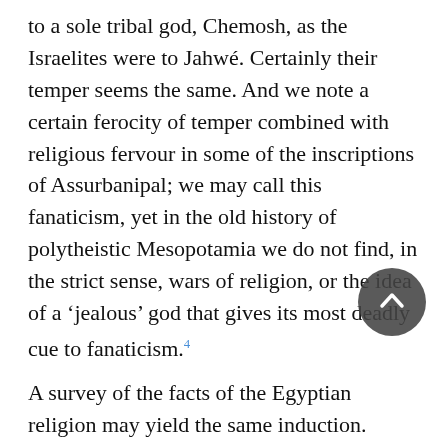to a sole tribal god, Chemosh, as the Israelites were to Jahwé. Certainly their temper seems the same. And we note a certain ferocity of temper combined with religious fervour in some of the inscriptions of Assurbanipal; we may call this fanaticism, yet in the old history of polytheistic Mesopotamia we do not find, in the strict sense, wars of religion, or the idea of a 'jealous' god that gives its most deadly cue to fanaticism.4
A survey of the facts of the Egyptian religion may yield the same induction. Apart from the temper of the people, its polytheism contained within it no principle of intolerance: only a village or community that was fervently devoted to a special animal-god might be infuriated against another village that treated that animal with disrespect. It is only when Amenhotep IV established a pure monotheism, the sole and exclusive worship of the sun-god, Aton, that now the idea emerges of a jealous god that endeavours to extirpate